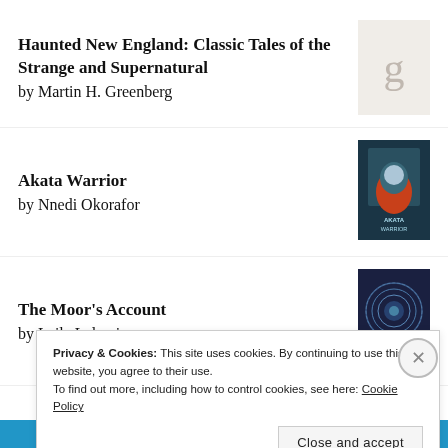Haunted New England: Classic Tales of the Strange and Supernatural by Martin H. Greenberg
Akata Warrior by Nnedi Okorafor
The Moor's Account by Laila Lalami
Privacy & Cookies: This site uses cookies. By continuing to use this website, you agree to their use. To find out more, including how to control cookies, see here: Cookie Policy